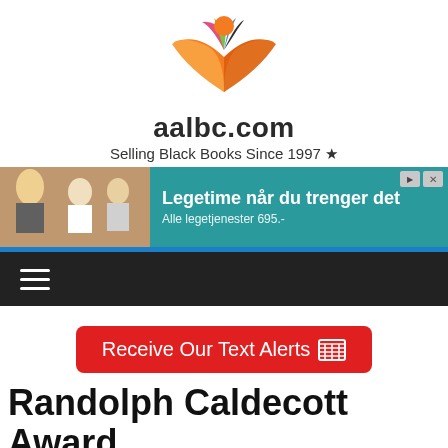[Figure (logo): aalbc.com open book logo with colorful pages and orange circle figure above, site name 'aalbc.com' and tagline 'Selling Black Books Since 1997 ★']
[Figure (photo): Advertisement banner with teal background showing two children and text 'Legetime når du trenger det' and 'Alle legetjenester 695.-']
[Figure (other): Black navigation bar with hamburger menu icon (three horizontal lines)]
[Figure (other): Red button reading 'Receive Our Text Alerts' with grid/message icon]
Randolph Caldecott Award